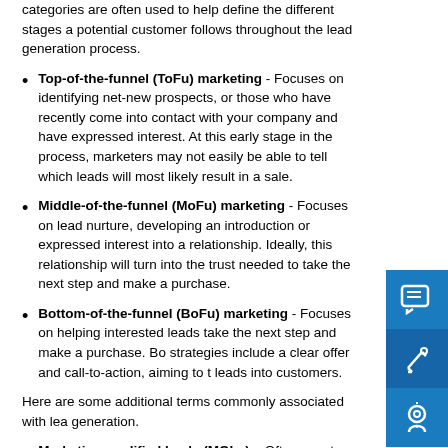categories are often used to help define the different stages a potential customer follows throughout the lead generation process.
Top-of-the-funnel (ToFu) marketing - Focuses on identifying net-new prospects, or those who have recently come into contact with your company and have expressed interest. At this early stage in the process, marketers may not easily be able to tell which leads will most likely result in a sale.
Middle-of-the-funnel (MoFu) marketing - Focuses on lead nurture, developing an introduction or expressed interest into a relationship. Ideally, this relationship will turn into the trust needed to take the next step and make a purchase.
Bottom-of-the-funnel (BoFu) marketing - Focuses on helping interested leads take the next step and make a purchase. BoFu strategies include a clear offer and call-to-action, aiming to turn leads into customers.
Here are some additional terms commonly associated with lead generation.
Marketing qualified leads (MQLs) – Often new to your website